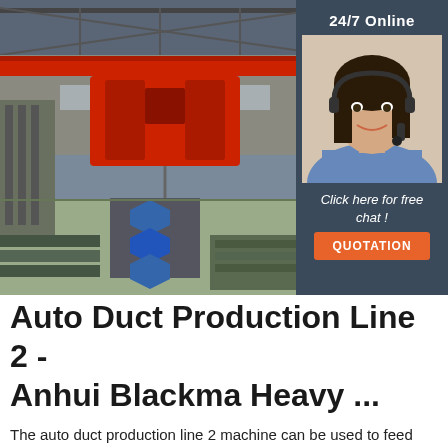[Figure (photo): Factory interior showing an auto duct production line with large red overhead crane structures and blue duct components on a long production conveyor line. Background shows industrial steel-frame building.]
[Figure (photo): Customer service agent overlay sidebar: dark gray/blue background with '24/7 Online' text at top, photo of smiling woman with headset, italic text 'Click here for free chat!', and orange QUOTATION button.]
Auto Duct Production Line 2 - Anhui Blackma Heavy ...
The auto duct production line 2 machine can be used to feed material for HVAC duct manufacturer. Meanwhile, it can feed sheet metal for TDF flange.